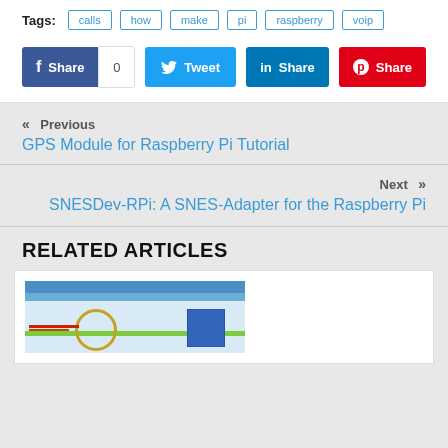Tags: calls  how  make  pi  raspberry  voip
Share  0  Tweet  Share  Share
« Previous
GPS Module for Raspberry Pi Tutorial
Next »
SNESDev-RPi: A SNES-Adapter for the Raspberry Pi
RELATED ARTICLES
[Figure (screenshot): Screenshot of a software application with a servo motor and electronic module displayed]